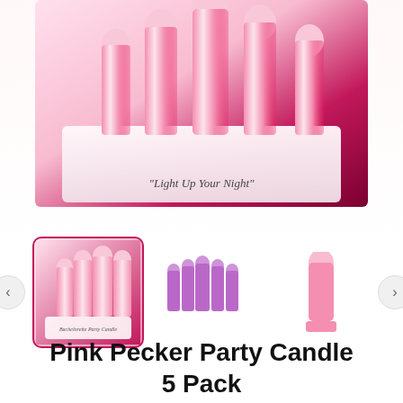[Figure (photo): Close-up product photo of a 5-pack of pink pecker-shaped party candles in plastic packaging with text 'Light Up Your Night' on the tray]
[Figure (photo): Thumbnail gallery row showing three product images: (1) selected thumbnail of the full packaged product, (2) five purple/lavender pecker candles standing upright, (3) single pink pecker candle. Navigation arrows on left and right.]
Pink Pecker Party Candle 5 Pack